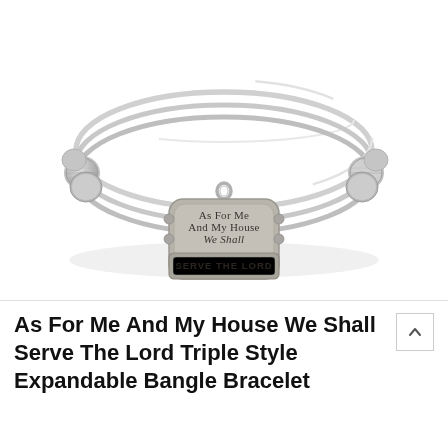[Figure (photo): Product photo of a silver triple-style expandable bangle bracelet with three wire bands and decorative beads on the sides. A central charm pendant reads 'As For Me And My House We Shall SERVE THE LORD' in engraved lettering on an antique silver tag.]
As For Me And My House We Shall Serve The Lord Triple Style Expandable Bangle Bracelet